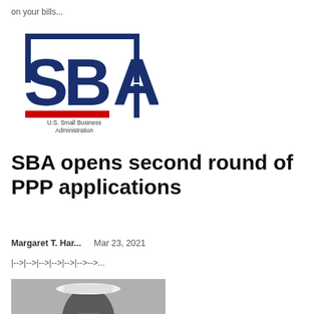on your bills...
[Figure (logo): U.S. Small Business Administration (SBA) logo — large dark navy blue letters 'SBA' with bracket/corner marks, red accent bar at bottom, and text 'U.S. Small Business Administration' below]
SBA opens second round of PPP applications
Margaret T. Har...    Mar 23, 2021
|-->|-->|-->|-->|-->|-->-->...
[Figure (photo): Black and white photo of a man wearing a white naval cap, looking forward, cropped at the shoulders]